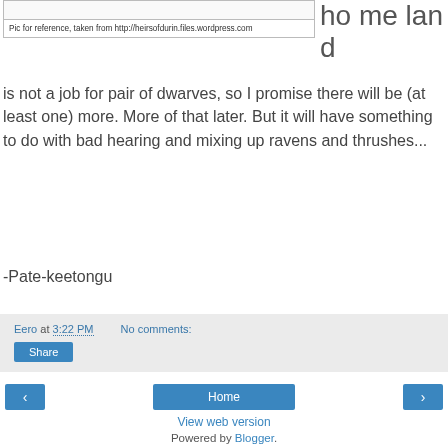[Figure (photo): Image placeholder with white background]
Pic for reference, taken from http://heirsofdurin.files.wordpress.com
homeland is not a job for pair of dwarves, so I promise there will be (at least one) more. More of that later. But it will have something to do with bad hearing and mixing up ravens and thrushes...
-Pate-keetongu
Eero at 3:22 PM    No comments:
Share
Home
View web version
Powered by Blogger.